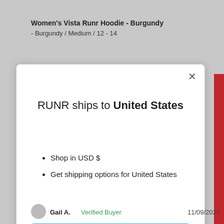Women's Vista Runr Hoodie - Burgundy
- Burgundy / Medium / 12 - 14
[Figure (screenshot): Modal dialog popup on a shopping website. Title: 'RUNR ships to United States'. Bullet points: 'Shop in USD $', 'Get shipping options for United States'. Blue 'Shop now' button. 'Change shipping country' link. Close X button in top right corner.]
Gail A.  Verified Buyer  11/09/2020